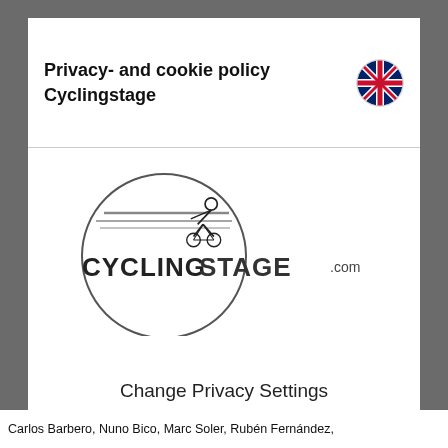Privacy- and cookie policy Cyclingstage
[Figure (logo): Cycling Stage .com logo — circular emblem with cyclist silhouette and horizontal speed lines, text 'CYCLING STAGE .com']
Change Privacy Settings
I accept the privacy settings
Carlos Barbero, Nuno Bico, Marc Soler, Rubén Fernández,